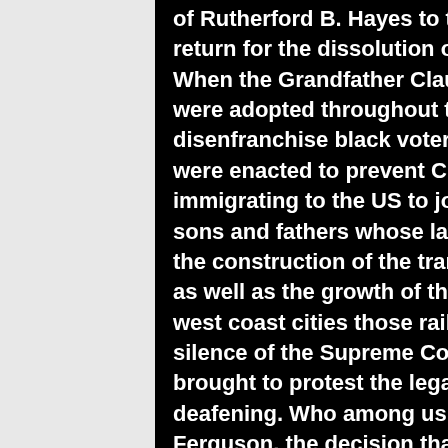[Figure (photo): Black and white background photo of misty pine/fir trees visible on the right side of the page, partially obscured by black panel overlay.]
of Rutherford B. Hayes to the Presidency in return for the dissolution of Reconstruction? When the Grandfather Clauses and Black Codes were adopted throughout the Jim Crow South to disenfranchise black voters and the Yellow Codes were enacted to prevent Chinese families from immigrating to the US to join their husbands, sons and fathers whose labor was instrumental in the construction of the transcontinental railroad as well as the growth of the mining towns and west coast cities those railroads opened up, the silence of the Supreme Court in hearing briefs brought to protest the legailty of those laws was deafening. Who among us can forget Plessy v Ferguson, the decision that codified segregation into a law of